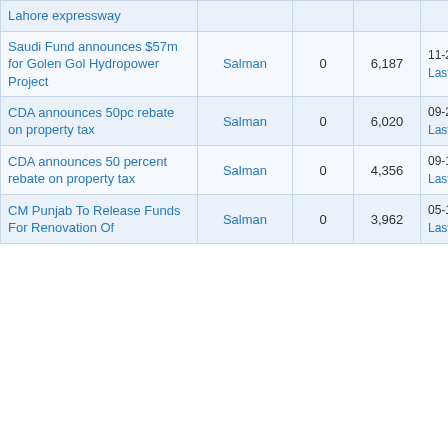| Thread Title | Author | Replies | Views | Last Post |
| --- | --- | --- | --- | --- |
| Lahore expressway |  |  |  |  |
| Saudi Fund announces $57m for Golen Gol Hydropower Project | Salman | 0 | 6,187 | 11-20-2013 03:19 P
Last Post: Salman |
| CDA announces 50pc rebate on property tax | Salman | 0 | 6,020 | 09-25-2013 12:23 P
Last Post: Salman |
| CDA announces 50 percent rebate on property tax | Salman | 0 | 4,356 | 09-16-2013 04:40 P
Last Post: Salman |
| CM Punjab To Release Funds For Renovation Of ... | Salman | 0 | 3,962 | 05-10-2013 11:27 A
Last Post: Salman |